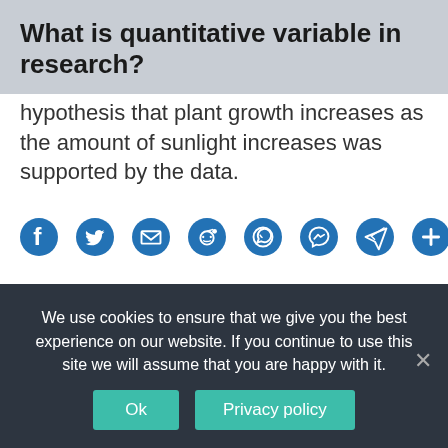What is quantitative variable in research?
hypothesis that plant growth increases as the amount of sunlight increases was supported by the data.
[Figure (infographic): Social share icons: Facebook, Twitter, Email, Reddit, WhatsApp, Messenger, Telegram, plus/more]
CATEGORY:   MOST POPULAR
← PREVIOUS ARTICLE    NEXT ARTICLE →
We use cookies to ensure that we give you the best experience on our website. If you continue to use this site we will assume that you are happy with it.
Ok   Privacy policy